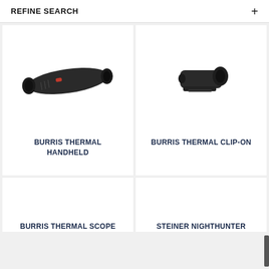REFINE SEARCH +
[Figure (photo): Burris Thermal Handheld device — dark cylindrical monocular-style thermal imaging device pointing to the right]
BURRIS THERMAL HANDHELD
[Figure (photo): Burris Thermal Clip-On device — small dark compact clip-on thermal imaging attachment]
BURRIS THERMAL CLIP-ON
[Figure (photo): Partial view of Burris Thermal Scope product card (bottom cropped)]
BURRIS THERMAL SCOPE
[Figure (photo): Partial view of Steiner Nighthunter product card (bottom cropped)]
STEINER NIGHTHUNTER